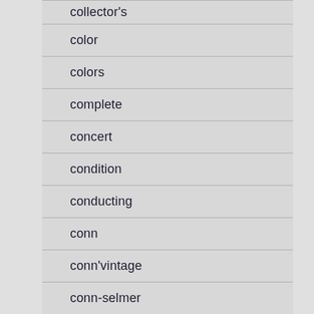collector's
color
colors
complete
concert
condition
conducting
conn
conn'vintage
conn-selmer
conngreenhoe
contrabass